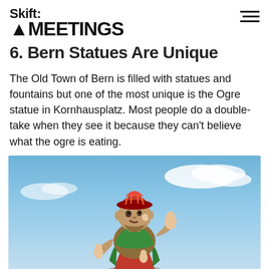Skift MEETINGS
6. Bern Statues Are Unique
The Old Town of Bern is filled with statues and fountains but one of the most unique is the Ogre statue in Kornhausplatz. Most people do a double-take when they see it because they can't believe what the ogre is eating.
[Figure (photo): Photo of the Ogre statue (Kindlifresserbrunnen) in Bern, Switzerland. A colorful painted stone statue of an ogre wearing a striped hat, eating a small child figure, with more children tucked under its arm and around its body. The statue is photographed against a blue sky with white clouds.]